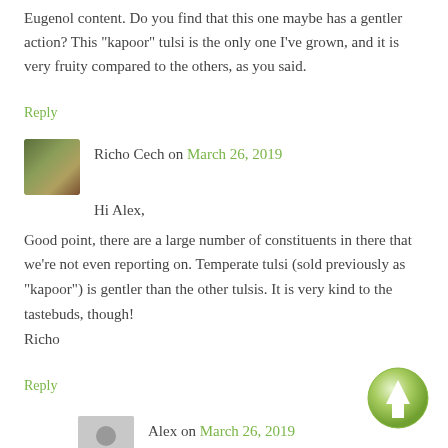Eugenol content. Do you find that this one maybe has a gentler action? This “kapoor” tulsi is the only one I’ve grown, and it is very fruity compared to the others, as you said.
Reply
Richo Cech on March 26, 2019
Hi Alex,
Good point, there are a large number of constituents in there that we're not even reporting on. Temperate tulsi (sold previously as “kapoor”) is gentler than the other tulsis. It is very kind to the tastebuds, though!
Richo
Reply
Alex on March 26, 2019
Ahh yes, thank you. I have mostly drank the